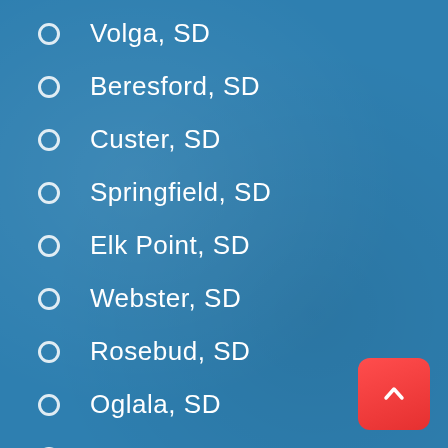Volga, SD
Beresford, SD
Custer, SD
Springfield, SD
Elk Point, SD
Webster, SD
Rosebud, SD
Oglala, SD
Wagner, SD